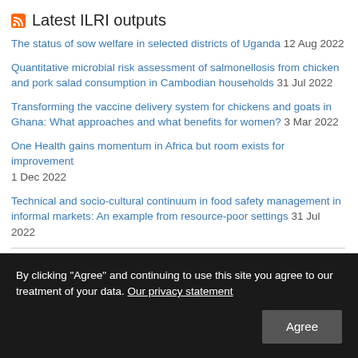Latest ILRI outputs
The status of sow welfare in selected districts of Uganda 12 Aug 2022
Quantitative microbial risk assessment of salmonellosis from chicken and pork salad consumption in Cambodian households 31 Jul 2022
Transforming the vaccine delivery system for chickens and goats in Ghana: What approaches and what benefits for women? 3 Mar 2022
One Health gains momentum in Africa but room exists for improvement 1 Dec 2022
Technical and socio-cultural continuum in food safety management in informal markets: An example from resource-poor settings 31 Jul 2022
News from ILRI blogs
By clicking “Agree” and continuing to use this site you agree to our treatment of your data. Our privacy statement
Exploring measures to curb the spread of African swine fever in southern Uganda...